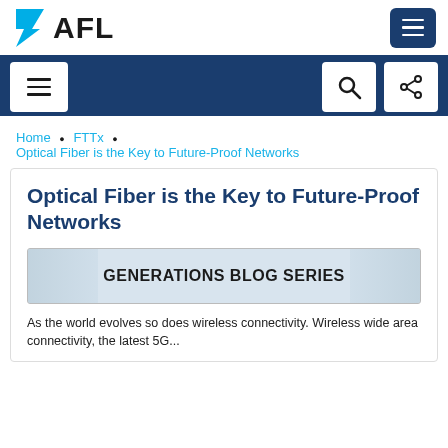AFL
[Figure (logo): AFL logo with stylized F and bold AFL text]
Home · FTTx · Optical Fiber is the Key to Future-Proof Networks
Optical Fiber is the Key to Future-Proof Networks
[Figure (illustration): GENERATIONS BLOG SERIES banner with fiber optic cable background]
As the world evolves so does wireless connectivity. Wireless wide area connectivity, the latest 5G...